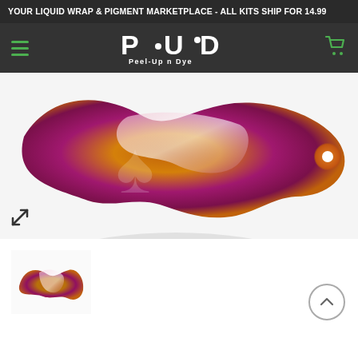YOUR LIQUID WRAP & PIGMENT MARKETPLACE - ALL KITS SHIP FOR 14.99
[Figure (logo): PUD Peel-Up n Dye logo with stylized text on dark navigation bar]
[Figure (photo): Close-up photo of a pearlescent liquid wrap sample piece showing metallic pink/magenta and gold color-shift effect, shot on white background]
[Figure (photo): Thumbnail of the same liquid wrap piece showing the full color-shift from gold/orange to magenta/pink]